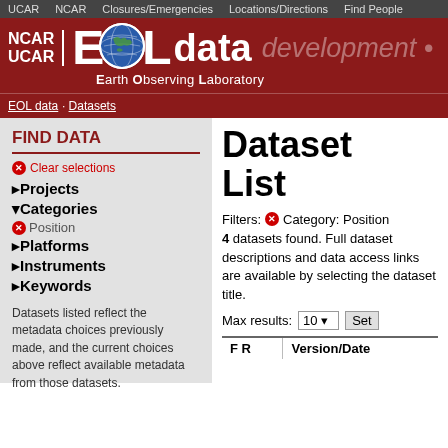UCAR  NCAR  Closures/Emergencies  Locations/Directions  Find People
[Figure (logo): NCAR UCAR EOL data Earth Observing Laboratory banner with globe icon, dark red background, development text]
EOL data · Datasets
FIND DATA
Clear selections
Projects
Categories
Position
Platforms
Instruments
Keywords
Datasets listed reflect the metadata choices previously made, and the current choices above reflect available metadata from those datasets.
Dataset List
Filters: Category: Position
4 datasets found. Full dataset descriptions and data access links are available by selecting the dataset title.
Max results: 10  Set
| F R | Version/Date |
| --- | --- |